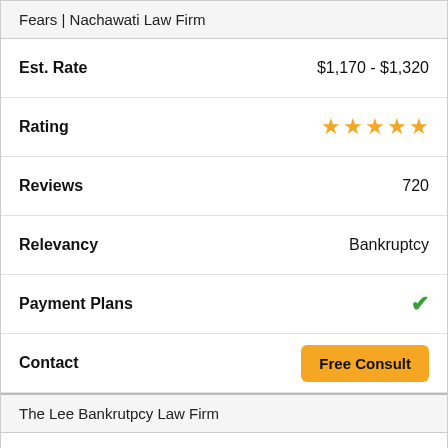Fears | Nachawati Law Firm
| Field | Value |
| --- | --- |
| Est. Rate | $1,170 - $1,320 |
| Rating | ★★★★★ |
| Reviews | 720 |
| Relevancy | Bankruptcy |
| Payment Plans | ✓ |
| Contact | Free Consult |
The Lee Bankrutpcy Law Firm
| Field | Value |
| --- | --- |
| Est. Rate | $1,170 - $1,320 |
| Rating | ★★★★★ |
| Reviews | 216 |